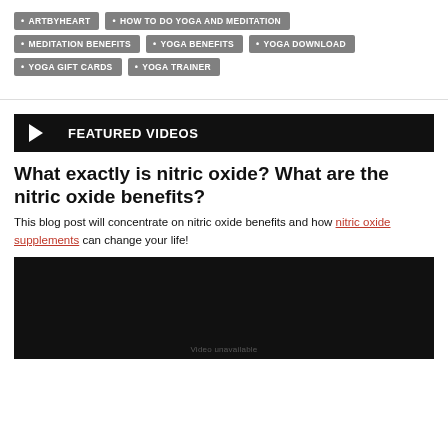ARTBYHEART
HOW TO DO YOGA AND MEDITATION
MEDITATION BENEFITS
YOGA BENEFITS
YOGA DOWNLOAD
YOGA GIFT CARDS
YOGA TRAINER
FEATURED VIDEOS
What exactly is nitric oxide? What are the nitric oxide benefits?
This blog post will concentrate on nitric oxide benefits and how nitric oxide supplements can change your life!
[Figure (other): Dark video thumbnail placeholder]